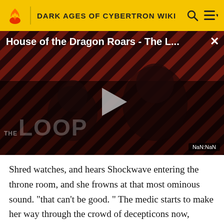DARK AGES OF CYBERTRON WIKI
[Figure (screenshot): Video player thumbnail showing 'House of the Dragon Roars - The L...' with a dark background featuring diagonal red and dark stripes, a person in the background, a play button in the center, 'THE LOOP' watermark text, and a 'NaN:NaN' timer badge in the bottom right corner.]
Shred watches, and hears Shockwave entering the throne room, and she frowns at that most ominous sound. "that can't be good. " The medic starts to make her way through the crowd of decepticons now, towards the cyclopean behemoth. "Sir. later on I must request that you report to